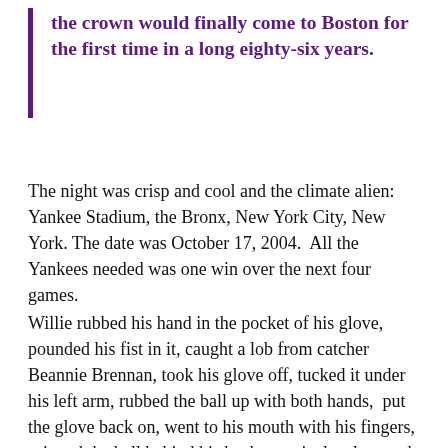the crown would finally come to Boston for the first time in a long eighty-six years.
The night was crisp and cool and the climate alien: Yankee Stadium, the Bronx, New York City, New York. The date was October 17, 2004.  All the Yankees needed was one win over the next four games.
Willie rubbed his hand in the pocket of his glove, pounded his fist in it, caught a lob from catcher Beannie Brennan, took his glove off, tucked it under his left arm, rubbed the ball up with both hands,  put the glove back on, went to his mouth with his fingers, gripped the ball behind his back at waist level, reared back, pointed his elbow toward home as if to guide the ball, cocked his